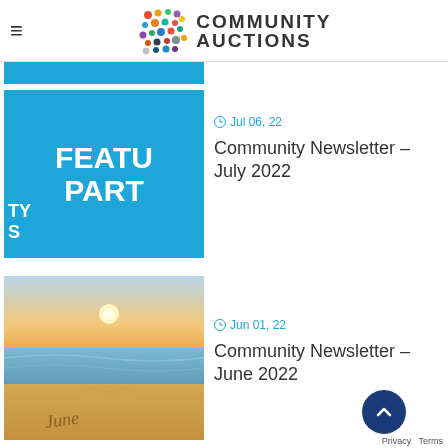[Figure (logo): Community Auctions logo with colorful dot grid and text]
[Figure (illustration): Blue square with white bold text 'FEATU PART' and letters TY S on the left side]
Jul 06, 22
Community Newsletter – July 2022
[Figure (photo): Beach sunset photo with 'June' written in sand]
Jun 01, 22
Community Newsletter – June 2022